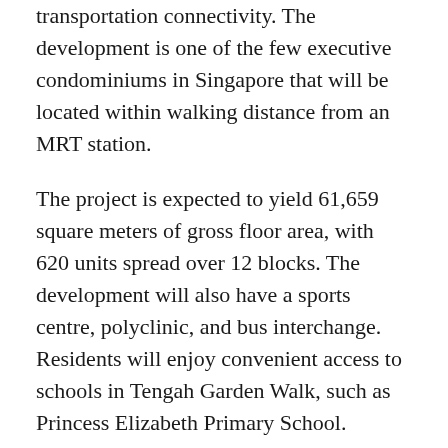transportation connectivity. The development is one of the few executive condominiums in Singapore that will be located within walking distance from an MRT station.
The project is expected to yield 61,659 square meters of gross floor area, with 620 units spread over 12 blocks. The development will also have a sports centre, polyclinic, and bus interchange. Residents will enjoy convenient access to schools in Tengah Garden Walk, such as Princess Elizabeth Primary School.
Evergreen Forest Town is a development in the Tengah district that aims to redefine nature-themed metropolis living. It features smart energy management and waste-water treatment systems that will help residents live more sustainably. The homes will also have green roofs, and rainwater collection systems.